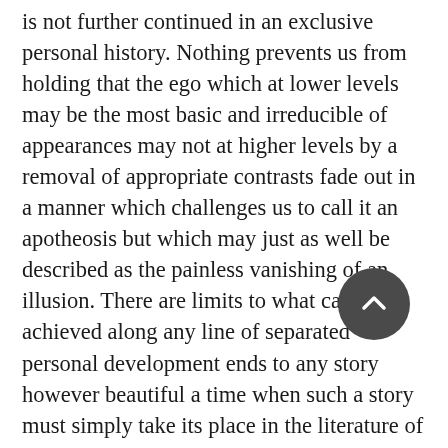is not further continued in an exclusive personal history. Nothing prevents us from holding that the ego which at lower levels may be the most basic and irreducible of appearances may not at higher levels by a removal of appropriate contrasts fade out in a manner which challenges us to call it an apotheosis but which may just as well be described as the painless vanishing of an illusion. There are limits to what can be achieved along any line of separated personal development ends to any story however beautiful a time when such a story must simply take its place in the literature of the world. There is a death which we shall all in our ultimate maturity welcome: it is not the cessation of personal being that is to be lamented but that we are not able to consummate it in our time and way. The Sein zum Tode which Heidegger saw at the root of human existence may well represent its ultimate sense: its seeming negation may however involve a blessed